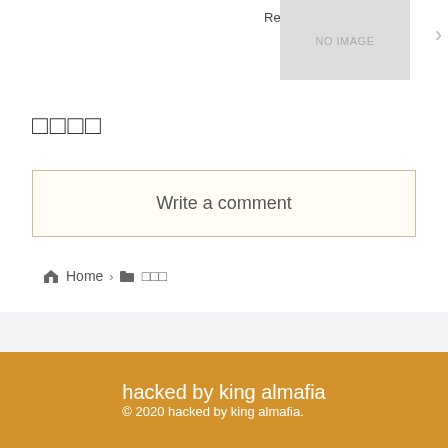Research Paper Writers
[Figure (other): No image placeholder box with gray background]
□□□□
Write a comment
Home > □□□
hacked by king almafia
© 2020 hacked by king almafia.